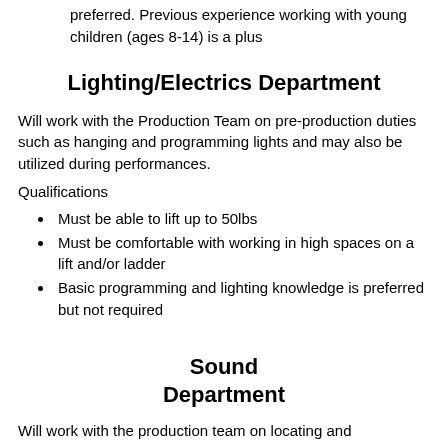preferred. Previous experience working with young children (ages 8-14) is a plus
Lighting/Electrics Department
Will work with the Production Team on pre-production duties such as hanging and programming lights and may also be utilized during performances.
Qualifications
Must be able to lift up to 50lbs
Must be comfortable with working in high spaces on a lift and/or ladder
Basic programming and lighting knowledge is preferred but not required
Sound Department
Will work with the production team on locating and